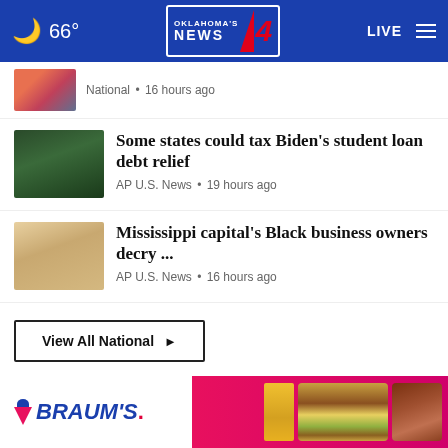66° Oklahoma's News 4 LIVE
National • 16 hours ago
Some states could tax Biden's student loan debt relief
AP U.S. News • 19 hours ago
Mississippi capital's Black business owners decry ...
AP U.S. News • 16 hours ago
View All National ▶
WASHINGTON D.C. ▶
[Figure (photo): Braum's advertisement banner with ice cream and burger images]